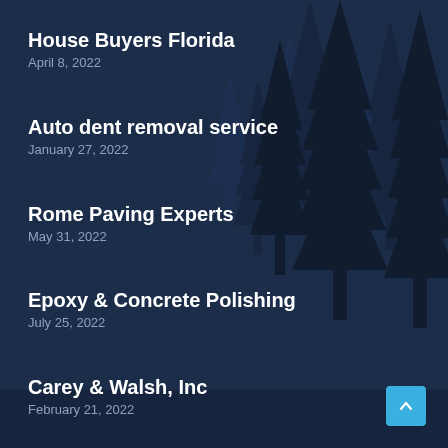[Figure (illustration): Dark navy blue background with silhouettes of tall pine/fir trees in a foggy forest scene]
House Buyers Florida
April 8, 2022
Auto dent removal service
January 27, 2022
Rome Paving Experts
May 31, 2022
Epoxy & Concrete Polishing
July 25, 2022
Carey & Walsh, Inc
February 21, 2022